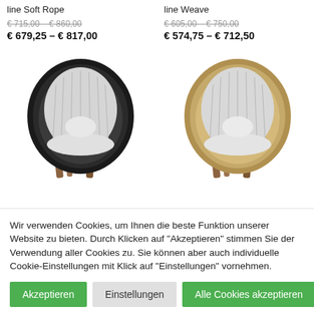line Soft Rope
€ 715,00 – € 860,00 (strikethrough) 
€ 679,25 – € 817,00
line Weave
€ 605,00 – € 750,00 (strikethrough) 
€ 574,75 – € 712,50
[Figure (photo): Dark grey woven round chair with light grey cushion and wooden legs (left) and natural/beige woven round chair with light grey cushion and wooden legs (right)]
Wir verwenden Cookies, um Ihnen die beste Funktion unserer Website zu bieten. Durch Klicken auf "Akzeptieren" stimmen Sie der Verwendung aller Cookies zu. Sie können aber auch individuelle Cookie-Einstellungen mit Klick auf "Einstellungen" vornehmen.
Akzeptieren
Einstellungen
Alle Cookies akzeptieren